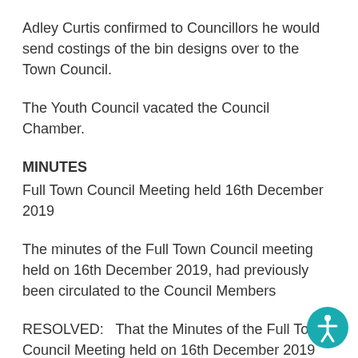Adley Curtis confirmed to Councillors he would send costings of the bin designs over to the Town Council.
The Youth Council vacated the Council Chamber.
MINUTES
Full Town Council Meeting held 16th December 2019
The minutes of the Full Town Council meeting held on 16th December 2019, had previously been circulated to the Council Members
RESOLVED:   That the Minutes of the Full Town Council Meeting held on 16th December 2019 be adopted as a correct record.